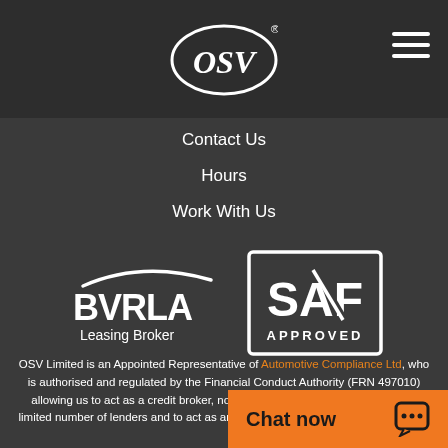[Figure (logo): OSV logo - oval shape with OSV text and registered trademark symbol, white on dark background]
[Figure (other): Hamburger menu icon - three horizontal white lines]
Contact Us
Hours
Work With Us
[Figure (logo): BVRLA Leasing Broker logo - white text with swoosh graphic]
[Figure (logo): SAF Approved logo - white text in bordered box]
OSV Limited is an Appointed Representative of Automotive Compliance Ltd, who is authorised and regulated by the Financial Conduct Authority (FRN 497010) allowing us to act as a credit broker, not as a lender, for the introduction to a limited number of lenders and to act as an agent on behalf of the insurer for ins
We are not an independent fi...
[Figure (other): Chat now button - orange background with Chat now text and speech bubble icon]